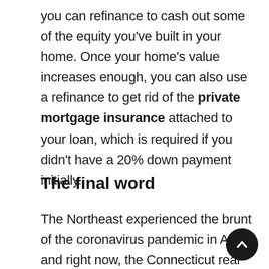you can refinance to cash out some of the equity you've built in your home. Once your home's value increases enough, you can also use a refinance to get rid of the private mortgage insurance attached to your loan, which is required if you didn't have a 20% down payment initially.
The final word
The Northeast experienced the brunt of the coronavirus pandemic in April, and right now, the Connecticut real estate